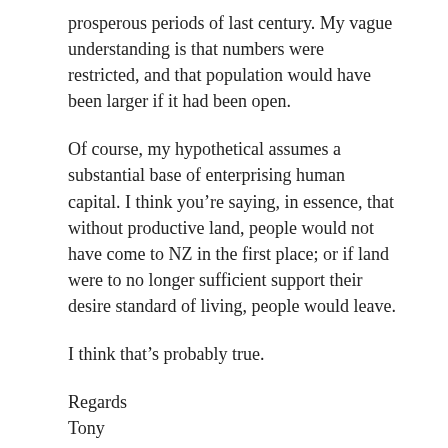prosperous periods of last century. My vague understanding is that numbers were restricted, and that population would have been larger if it had been open.
Of course, my hypothetical assumes a substantial base of enterprising human capital. I think you’re saying, in essence, that without productive land, people would not have come to NZ in the first place; or if land were to no longer sufficient support their desire standard of living, people would leave.
I think that’s probably true.
Regards
Tony